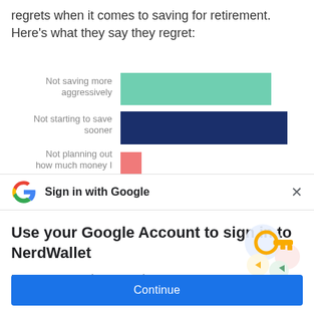regrets when it comes to saving for retirement. Here's what they say they regret:
[Figure (bar-chart): Retirement saving regrets]
Sign in with Google
Use your Google Account to sign in to NerdWallet
No more passwords to remember. Signing in is fast, simple and secure.
Continue